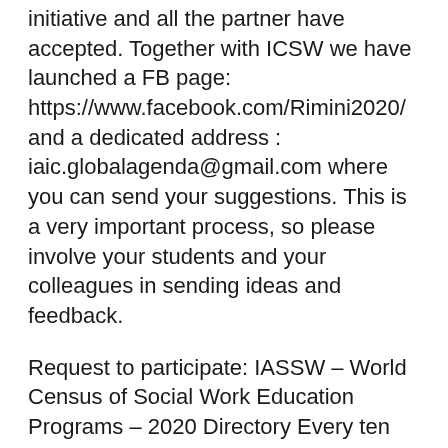initiative and all the partner have accepted. Together with ICSW we have launched a FB page: https://www.facebook.com/Rimini2020/ and a dedicated address : iaic.globalagenda@gmail.com where you can send your suggestions. This is a very important process, so please involve your students and your colleagues in sending ideas and feedback.
Request to participate: IASSW – World Census of Social Work Education Programs – 2020 Directory Every ten years, the International Association of Schools of Social Work (IASSW) conducts a world census of social work education programs offering at least one degree program in